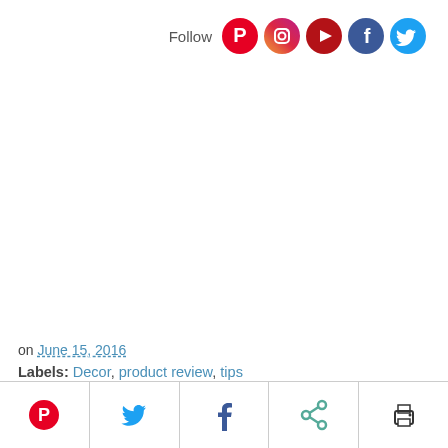Follow [Pinterest] [Instagram] [YouTube] [Facebook] [Twitter]
on June 15, 2016
Labels: Decor, product review, tips
[Figure (infographic): Social share bar with Pinterest, Twitter, Facebook, share, and print icons]